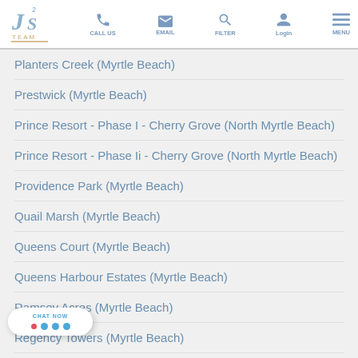JS Team - CALL US | EMAIL | FILTER | Login | MENU
Planters Creek (Myrtle Beach)
Prestwick (Myrtle Beach)
Prince Resort - Phase I - Cherry Grove (North Myrtle Beach)
Prince Resort - Phase Ii - Cherry Grove (North Myrtle Beach)
Providence Park (Myrtle Beach)
Quail Marsh (Myrtle Beach)
Queens Court (Myrtle Beach)
Queens Harbour Estates (Myrtle Beach)
Ramsey Acres (Myrtle Beach)
Regency Towers (Myrtle Beach)
...ossing - Barefoot Resort (North Myrtle Beach)
Rive... ...each (Myrtle Beach)